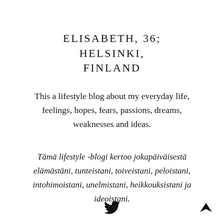ELISABETH, 36; HELSINKI, FINLAND
This a lifestyle blog about my everyday life, feelings, hopes, fears, passions, dreams, weaknesses and ideas.
Tämä lifestyle -blogi kertoo jokapäiväisestä elämästäni, tunteistani, toiveistani, peloistani, intohimoistani, unelmistani, heikkouksistani ja ideoistani.
[Figure (illustration): Twitter bird icon at the bottom center of the page]
[Figure (illustration): Upward-pointing chevron arrow icon at the bottom right of the page]